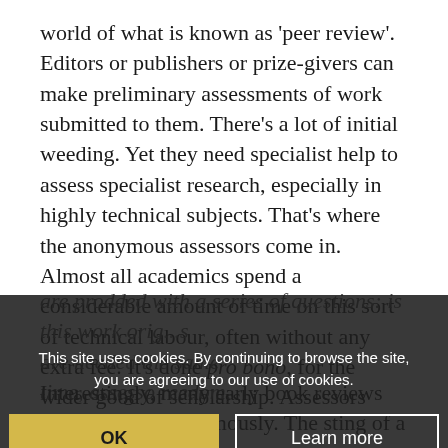world of what is known as 'peer review'. Editors or publishers or prize-givers can make preliminary assessments of work submitted to them. There's a lot of initial weeding. Yet they need specialist help to assess specialist research, especially in highly technical subjects. That's where the anonymous assessors come in. Almost all academics spend a considerable amount of time on this sort of technical labour, often without any extra fee. It's done pro bono, for the wider good of scholarship. Assessors are prodded with a series of questions: is this work orig... are needed... the same time, assesso... to write with freedom, hence risking... od to the hea...
This site uses cookies. By continuing to browse the site, you are agreeing to our use of cookies.
Interestingly, many early book reviews were written anonymously. The sting of a hostile notice was...